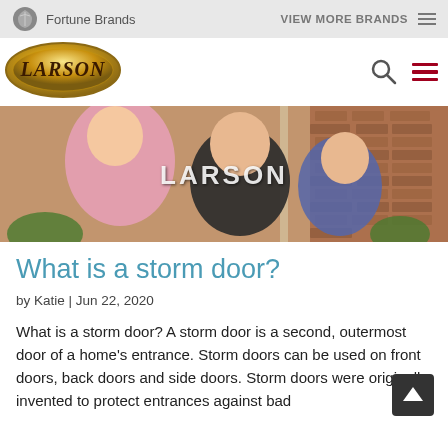Fortune Brands   VIEW MORE BRANDS
[Figure (logo): Larson brand logo — gold oval with LARSON text in dark serif font]
[Figure (photo): Hero image showing children playing near a storm door with a brick wall background. Larson watermark text overlaid in center.]
What is a storm door?
by Katie | Jun 22, 2020
What is a storm door? A storm door is a second, outermost door of a home's entrance. Storm doors can be used on front doors, back doors and side doors. Storm doors were originally invented to protect entrances against bad